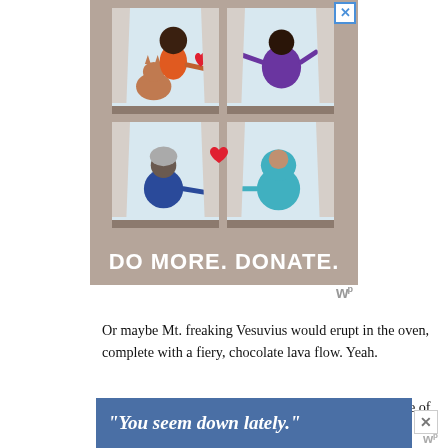[Figure (illustration): Illustration-style digital ad showing four apartment windows in a 2x2 grid on a taupe background. Top-left window: dark-skinned woman in orange with a cat, holding a red heart. Top-right window: woman in purple reaching out. Bottom-left window: older woman in blue reaching out. Bottom-right window: woman in teal hijab reaching. Text at bottom reads 'DO MORE. DONATE.' in large white bold letters. Small X close button top right.]
Or maybe Mt. freaking Vesuvius would erupt in the oven, complete with a fiery, chocolate lava flow. Yeah.
The batter burned in sticky mounds all over the surface of
[Figure (illustration): Blue banner ad with white bold italic text reading: "You seem down lately." with an X close button on the right.]